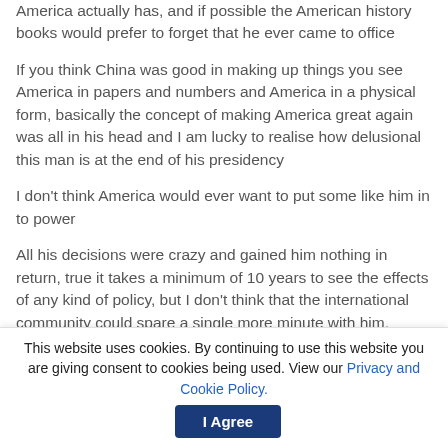America actually has, and if possible the American history books would prefer to forget that he ever came to office
If you think China was good in making up things you see America in papers and numbers and America in a physical form, basically the concept of making America great again was all in his head and I am lucky to realise how delusional this man is at the end of his presidency
I don't think America would ever want to put some like him in to power
All his decisions were crazy and gained him nothing in return, true it takes a minimum of 10 years to see the effects of any kind of policy, but I don't think that the international community could spare a single more minute with him.
This website uses cookies. By continuing to use this website you are giving consent to cookies being used. View our Privacy and Cookie Policy.